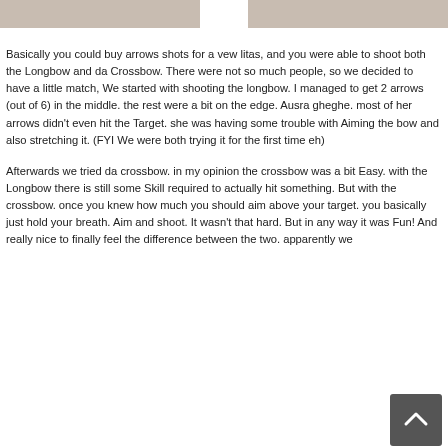[Figure (photo): Two cropped photo thumbnails at the top of the page, partially visible]
Basically you could buy arrows shots for a vew litas, and you were able to shoot both the Longbow and da Crossbow. There were not so much people, so we decided to have a little match, We started with shooting the longbow. I managed to get 2 arrows (out of 6) in the middle. the rest were a bit on the edge. Ausra gheghe. most of her arrows didn't even hit the Target. she was having some trouble with Aiming the bow and also stretching it. (FYI We were both trying it for the first time eh)
Afterwards we tried da crossbow. in my opinion the crossbow was a bit Easy. with the Longbow there is still some Skill required to actually hit something. But with the crossbow. once you knew how much you should aim above your target. you basically just hold your breath. Aim and shoot. It wasn't that hard. But in any way it was Fun! And really nice to finally feel the difference between the two. apparently we